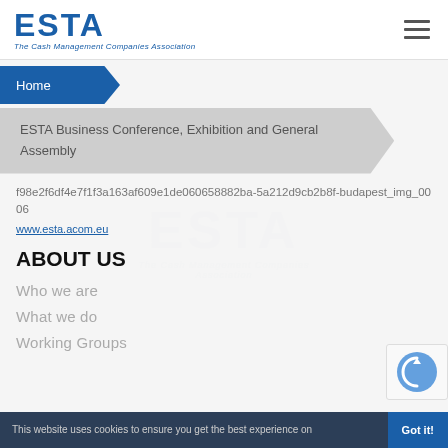[Figure (logo): ESTA logo - The Cash Management Companies Association]
Home
ESTA Business Conference, Exhibition and General Assembly
f98e2f6df4e7f1f3a163af609e1de060658882ba-5a212d9cb2b8f-budapest_img_0006
www.esta.com.eu
ABOUT US
Who we are
What we do
Working Groups
This website uses cookies to ensure you get the best experience on